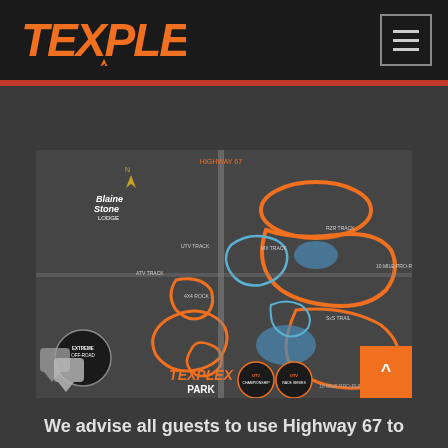[Figure (logo): Texplex logo in orange italic bold font with lightning bolt]
[Figure (map): Texplex Park facility map showing tracks, trails, and amenities with orange and blue route markings on dark background]
We advise all guests to use Highway 67 to